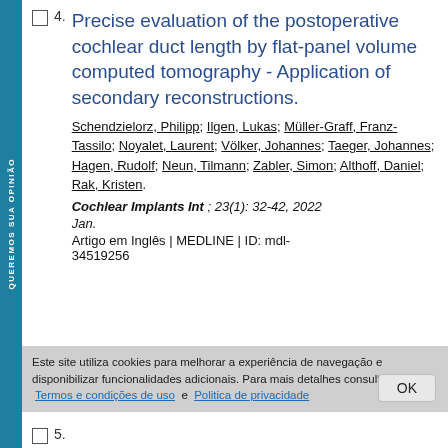4. Precise evaluation of the postoperative cochlear duct length by flat-panel volume computed tomography - Application of secondary reconstructions.
Schendzielorz, Philipp; Ilgen, Lukas; Müller-Graff, Franz-Tassilo; Noyalet, Laurent; Völker, Johannes; Taeger, Johannes; Hagen, Rudolf; Neun, Tilmann; Zabler, Simon; Althoff, Daniel; Rak, Kristen.
Cochlear Implants Int ; 23(1): 32-42, 2022 Jan.
Artigo em Inglês | MEDLINE | ID: mdl-34519256
Este site utiliza cookies para melhorar a experiência de navegação e disponibilizar funcionalidades adicionais. Para mais detalhes consulte nossos: Termos e condições de uso e Politica de privacidade